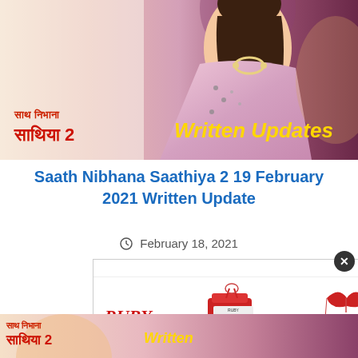[Figure (screenshot): TV show banner for Saath Nibhana Saathiya 2 with Hindi text 'साथ निभाना साथिया 2' in red on left, 'Written Updates' in yellow on right, woman in pink dress on right side of banner]
Saath Nibhana Saathiya 2 19 February 2021 Written Update
February 18, 2021
[Figure (screenshot): Advertisement for RUBY brand showing products: Puberty Book & Grow Up Brac... $19.99, Period Swimwear Ta... $79.99, Perio Bottom $49. Close button (X) in top right corner with play and close icons in top bar.]